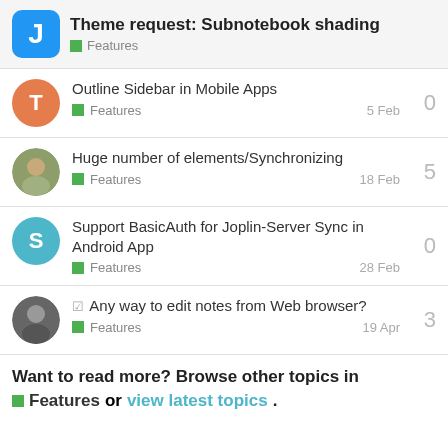Theme request: Subnotebook shading — Features
Outline Sidebar in Mobile Apps — Features — 5 Feb — 0 replies
Huge number of elements/Synchronizing — Features — 18 Feb — 5 replies
Support BasicAuth for Joplin-Server Sync in Android App — Features — 28 Feb — 0 replies
Any way to edit notes from Web browser? — Features — 19 Apr — 3 replies
Want to read more? Browse other topics in Features or view latest topics.